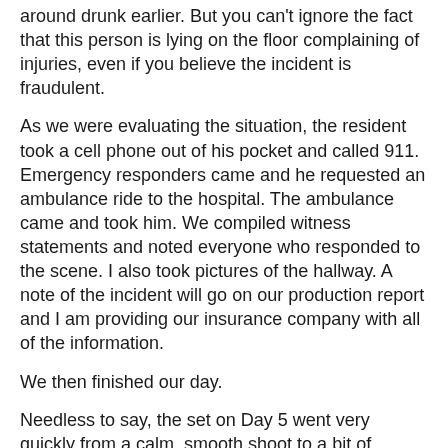around drunk earlier. But you can't ignore the fact that this person is lying on the floor complaining of injuries, even if you believe the incident is fraudulent.
As we were evaluating the situation, the resident took a cell phone out of his pocket and called 911. Emergency responders came and he requested an ambulance ride to the hospital. The ambulance came and took him. We compiled witness statements and noted everyone who responded to the scene. I also took pictures of the hallway. A note of the incident will go on our production report and I am providing our insurance company with all of the information.
We then finished our day.
Needless to say, the set on Day 5 went very quickly from a calm, smooth shoot to a bit of chaos. All in a day's work!
We are not filming in downtown LA today. We are off to South Pasadena tonight, filming all night. We even get to hire a port o potty. More to come...